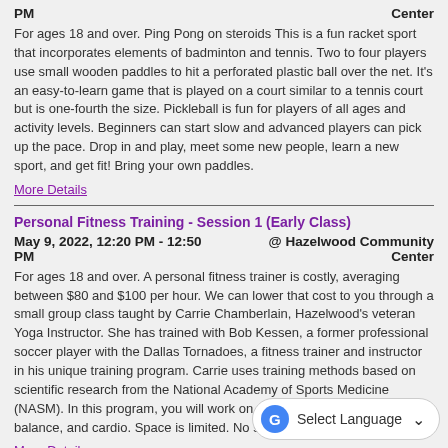PM	Center
For ages 18 and over. Ping Pong on steroids This is a fun racket sport that incorporates elements of badminton and tennis. Two to four players use small wooden paddles to hit a perforated plastic ball over the net. It's an easy-to-learn game that is played on a court similar to a tennis court but is one-fourth the size. Pickleball is fun for players of all ages and activity levels. Beginners can start slow and advanced players can pick up the pace. Drop in and play, meet some new people, learn a new sport, and get fit! Bring your own paddles.
More Details
Personal Fitness Training - Session 1 (Early Class)
May 9, 2022, 12:20 PM - 12:50 PM	@ Hazelwood Community Center
For ages 18 and over. A personal fitness trainer is costly, averaging between $80 and $100 per hour. We can lower that cost to you through a small group class taught by Carrie Chamberlain, Hazelwood's veteran Yoga Instructor. She has trained with Bob Kessen, a former professional soccer player with the Dallas Tornadoes, a fitness trainer and instructor in his unique training program. Carrie uses training methods based on scientific research from the National Academy of Sports Medicine (NASM). In this program, you will work on core stabilization, strength, balance, and cardio. Space is limited. No senior discount.
More Details
Yoga - Session 1 (Early Class)
May 9, 2022, 4:45 PM - 5:45	@ Hazelwood Community